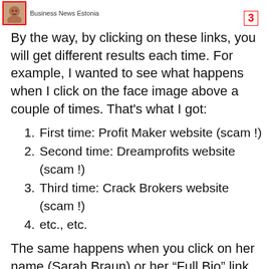Business News Estonia   3
By the way, by clicking on these links, you will get different results each time. For example, I wanted to see what happens when I click on the face image above a couple of times. That’s what I got:
1. First time: Profit Maker website (scam !)
2. Second time: Dreamprofits website (scam !)
3. Third time: Crack Brokers website (scam !)
4. etc., etc.
The same happens when you click on her name (Sarah Braun) or her “Full Bio” link. There’s no